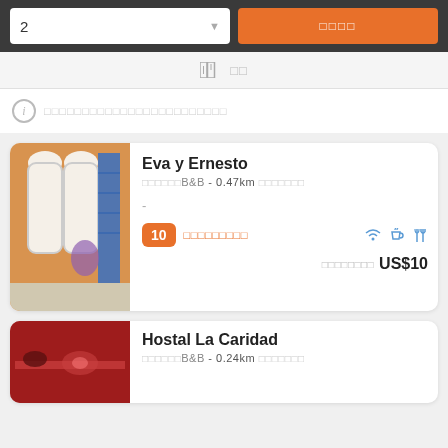2
□□□□
[Figure (screenshot): Map/list toggle bar with map icon and text in Asian script]
ⓘ □□□□□□□□□□□□□□□□□□□□□□
[Figure (photo): Photo of entrance with ornate white doors, blue staircase, orange wall]
Eva y Ernesto
□□□□□□B&B  - 0.47km □□□□□□□
-
10  □□□□□□□□□
□□□□□□□□  US$10
[Figure (photo): Photo of Hostal La Caridad showing red-themed interior with table setting]
Hostal La Caridad
□□□□□□B&B  - 0.24km □□□□□□□